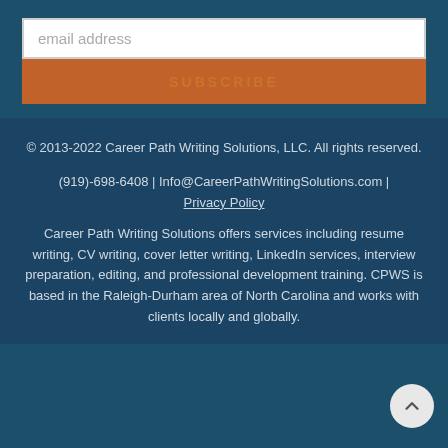[Figure (other): Email address input field with placeholder text 'email address']
[Figure (other): Orange SUBSCRIBE button]
© 2013-2022 Career Path Writing Solutions, LLC. All rights reserved.
(919)-698-6408 | Info@CareerPathWritingSolutions.com | Privacy Policy
Career Path Writing Solutions offers services including resume writing, CV writing, cover letter writing, LinkedIn services, interview preparation, editing, and professional development training. CPWS is based in the Raleigh-Durham area of North Carolina and works with clients locally and globally.